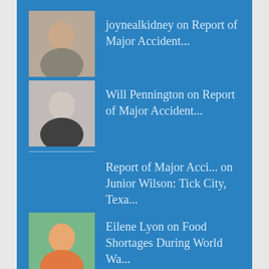joynealkidney on Report of Major Accident...
Will Pennington on Report of Major Accident...
Report of Major Acci... on Junior Wilson: Tick City, Texa...
Eilene Lyon on Food Shortages During World Wa...
Liz Gauffreau on Food Shortages During World Wa...
English
Archives